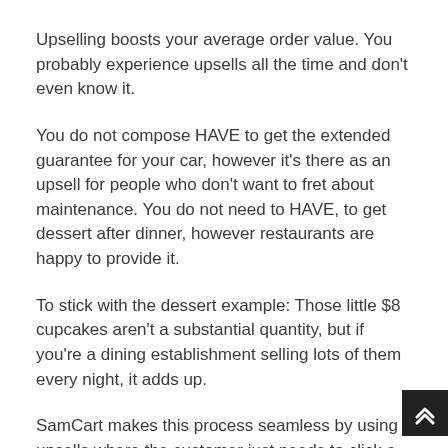Upselling boosts your average order value. You probably experience upsells all the time and don't even know it.
You do not compose HAVE to get the extended guarantee for your car, however it's there as an upsell for people who don't want to fret about maintenance. You do not need to HAVE, to get dessert after dinner, however restaurants are happy to provide it.
To stick with the dessert example: Those little $8 cupcakes aren't a substantial quantity, but if you're a dining establishment selling lots of them every night, it adds up.
SamCart makes this process seamless by using upsells where the customer just needs to click a single button to purchase your offering. According to